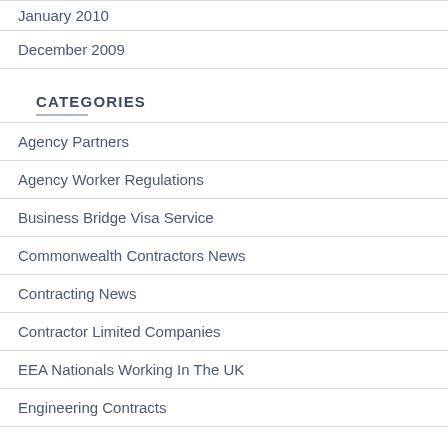January 2010
December 2009
CATEGORIES
Agency Partners
Agency Worker Regulations
Business Bridge Visa Service
Commonwealth Contractors News
Contracting News
Contractor Limited Companies
EEA Nationals Working In The UK
Engineering Contracts